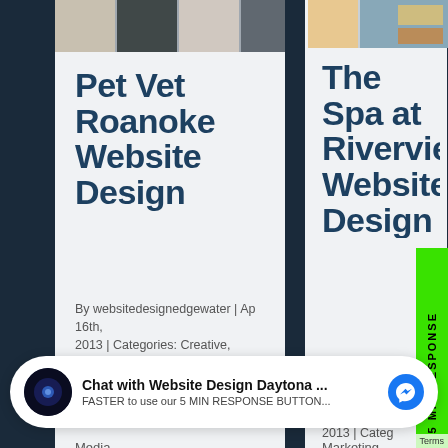[Figure (screenshot): Screenshot of a website portfolio page showing two website design cards side-by-side on a dark navy background. Left card shows 'Pet Vet Roanoke Website Design', right card shows 'The Spa at Riverview Website Design'. Both have thumbnail images at top and meta information below. A green vertical sidebar reads '5 MIN RESPONSE'. An accessibility icon (wheelchair symbol) appears bottom-left. A chat widget at the bottom reads 'Chat with Website Design Daytona ...' with a Messenger icon.]